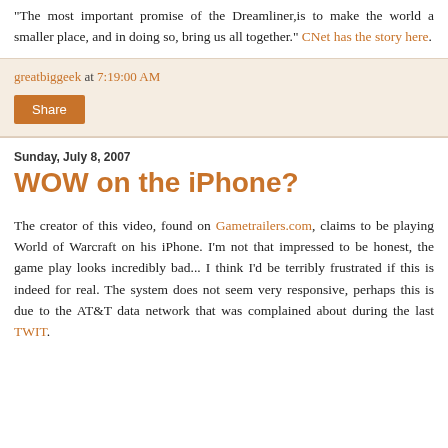"The most important promise of the Dreamliner,is to make the world a smaller place, and in doing so, bring us all together." CNet has the story here.
greatbiggeek at 7:19:00 AM
Share
Sunday, July 8, 2007
WOW on the iPhone?
The creator of this video, found on Gametrailers.com, claims to be playing World of Warcraft on his iPhone. I'm not that impressed to be honest, the game play looks incredibly bad... I think I'd be terribly frustrated if this is indeed for real. The system does not seem very responsive, perhaps this is due to the AT&T data network that was complained about during the last TWIT.